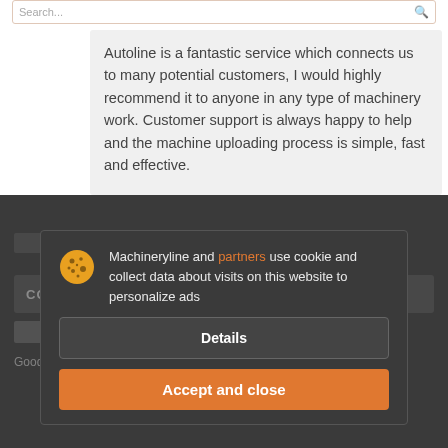Autoline is a fantastic service which connects us to many potential customers, I would highly recommend it to anyone in any type of machinery work. Customer support is always happy to help and the machine uploading process is simple, fast and effective.
Machineryline and partners use cookie and collect data about visits on this website to personalize ads
Details
Accept and close